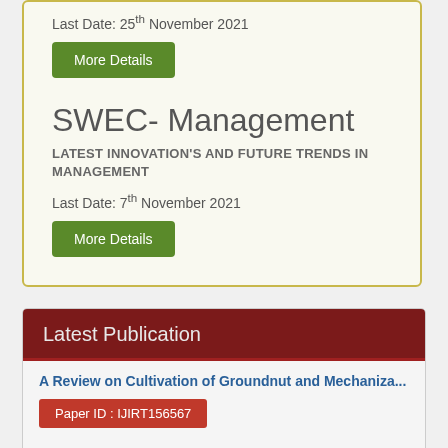Last Date: 25th November 2021
More Details
SWEC- Management
LATEST INNOVATION'S AND FUTURE TRENDS IN MANAGEMENT
Last Date: 7th November 2021
More Details
Latest Publication
A Review on Cultivation of Groundnut and Mechaniza...
Paper ID : IJIRT156567